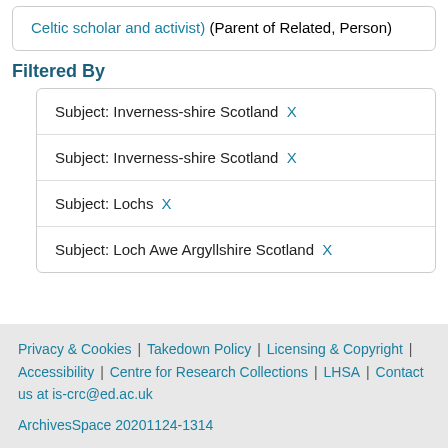Celtic scholar and activist) (Parent of Related, Person)
Filtered By
Subject: Inverness-shire Scotland X
Subject: Inverness-shire Scotland X
Subject: Lochs X
Subject: Loch Awe Argyllshire Scotland X
Privacy & Cookies | Takedown Policy | Licensing & Copyright | Accessibility | Centre for Research Collections | LHSA | Contact us at is-crc@ed.ac.uk
ArchivesSpace 20201124-1314